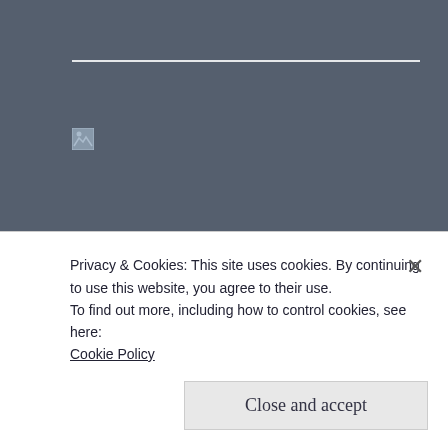[Figure (other): Broken/unloaded image placeholder at top]
FOLLOW ME ON INSTAGRAM
[Figure (other): Broken/unloaded Instagram image with alt text 'Instagram']
Privacy & Cookies: This site uses cookies. By continuing to use this website, you agree to their use.
To find out more, including how to control cookies, see here:
Cookie Policy
Close and accept